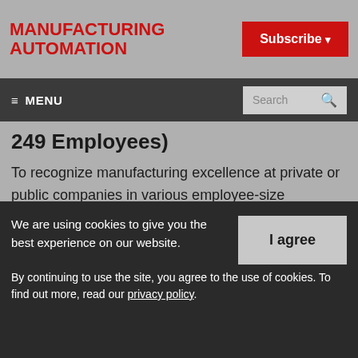MANUFACTURING AUTOMATION
Subscribe
≡ MENU   Search
249 Employees)
To recognize manufacturing excellence at private or public companies in various employee-size categories (small, with up-to 49 employees; medium, with 50 to 249; and large, with 250 or more).
We are using cookies to give you the best experience on our website.
By continuing to use the site, you agree to the use of cookies. To find out more, read our privacy policy.
I agree